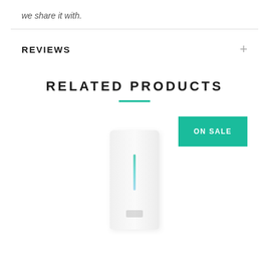we share it with.
REVIEWS
RELATED PRODUCTS
[Figure (photo): Product bottle with white background and teal accent line, with an ON SALE badge in teal]